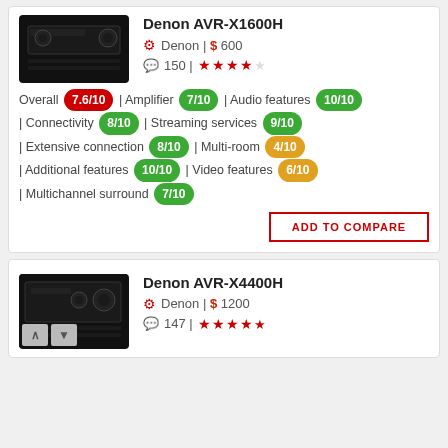Denon AVR-X1600H
Denon | $ 600
150 | ★★★★☆
Overall 7.6/10 | Amplifier 7/10 | Audio features 10/10 | Connectivity 8/10 | Streaming services 9/10 | Extensive connection 8/10 | Multi-room 4/10 | Additional features 10/10 | Video features 6/10 | Multichannel surround 7/10
ADD TO COMPARE
Denon AVR-X4400H
Denon | $ 1200
147 | ★★★★★